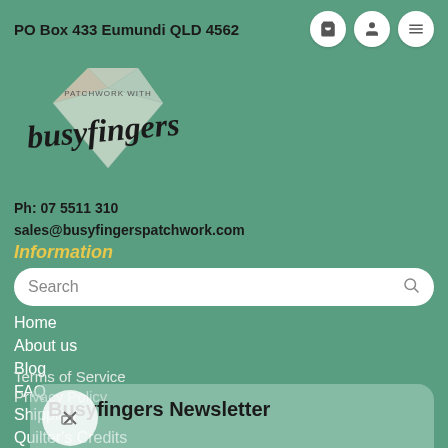PO Box 433 Eumundi QLD 4562
[Figure (logo): Busy Fingers Patchwork logo with decorative geometric gem shape and cursive script text 'busyfingers' with 'PATCHWORK WITH' above]
Ph: 07 5511 310
sales@busyfingerspatchwork.com
Information
Search
Home
About us
Blog
FAQ
Shipping
Quilter's Credits
Refunds & Returns Policy
Terms of Service
Privacy Policy
Busyfingers Newsletter